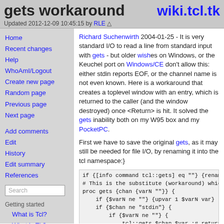gets workaround
wiki.tcl.tk
Updated 2012-12-09 10:45:15 by RLE
Home
Recent changes
Help
WhoAmI/Logout
Create new page
Random page
Previous page
Next page
Add comments
Edit
History
Edit summary
References
Search
Getting started
What is Tcl?
What is Tk?
Richard Suchenwirth 2004-01-25 - It is very standard I/O to read a line from standard input with gets - but older wishes on Windows, or the Keuchel port on Windows/CE don't allow this: either stdin reports EOF, or the channel name is not even known. Here is a workaround that creates a toplevel window with an entry, which is returned to the caller (and the window destroyed) once <Return> is hit. It solved the gets inability both on my W95 box and my PocketPC.
First we have to save the original gets, as it may still be needed for file I/O, by renaming it into the tcl namespace:}
[Figure (screenshot): Code block showing Tcl code: if {[info command tcl::gets] eq ""} {rename ... # This is the substitute (workaround) which ... proc gets {chan {varN ""}} { if {$varN ne ""} {upvar 1 $varN var} if {$chan ne "stdin"} { if {$varN ne ""} { tcl::gets $chan $var ;# return c } else { tcl::gets $chan ;# return the s]